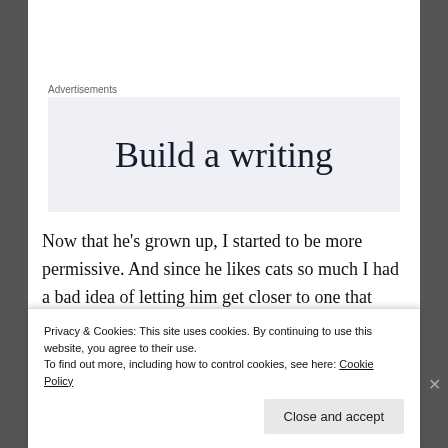Advertisements
[Figure (other): Advertisement banner with text 'Build a writing' on a light blue-gray background]
Now that he's grown up, I started to be more permissive. And since he likes cats so much I had a bad idea of letting him get closer to one that seemed friendly enough.
Animals are unpredictable and in half of a second,
Privacy & Cookies: This site uses cookies. By continuing to use this website, you agree to their use.
To find out more, including how to control cookies, see here: Cookie Policy
Close and accept